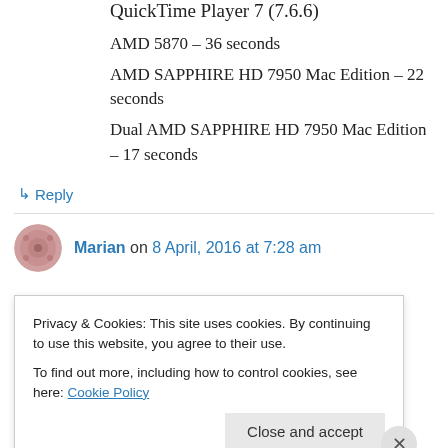QuickTime Player 7 (7.6.6)
AMD 5870 – 36 seconds
AMD SAPPHIRE HD 7950 Mac Edition – 22 seconds
Dual AMD SAPPHIRE HD 7950 Mac Edition – 17 seconds
↳ Reply
Marian on 8 April, 2016 at 7:28 am
Privacy & Cookies: This site uses cookies. By continuing to use this website, you agree to their use. To find out more, including how to control cookies, see here: Cookie Policy
Close and accept